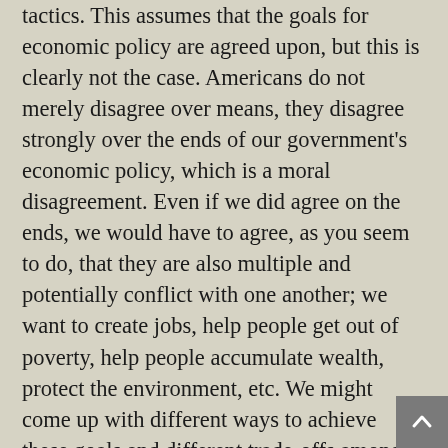tactics. This assumes that the goals for economic policy are agreed upon, but this is clearly not the case. Americans do not merely disagree over means, they disagree strongly over the ends of our government's economic policy, which is a moral disagreement. Even if we did agree on the ends, we would have to agree, as you seem to do, that they are also multiple and potentially conflict with one another; we want to create jobs, help people get out of poverty, help people accumulate wealth, protect the environment, etc. We might come up with different ways to achieve these goals and different trade-offs among them, and that is tactical. But if a budget plan unduly neglects one of these goals, or proposes sacrifices in one area when needless expenses are being made in another, then that is in fact more than just a tactical question, but one of morality and justice. And that is precisely the sort of thing that is at stake today and which the bishops are trying to address; as we discussed here a few weeks ago, some of the Ryan Plan, the U...